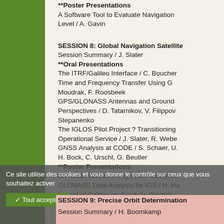**Poster Presentations
A Software Tool to Evaluate Navigation Level / A. Gavin
SESSION 8: Global Navigation Satellite
Session Summary / J. Slater
**Oral Presentations
The ITRF/Galileo Interface / C. Boucher
Time and Frequency Transfer Using G Moudrak, F. Roosbeek
GPS/GLONASS Antennas and Ground Perspectives / D. Tatarnikov, V. Filippov Stepanenko
The IGLOS Pilot Project ? Transitioning Operational Service / J. Slater, R. Weber
GNSS Analysis at CODE / S. Schaer, U. H. Bock, C. Urschl, G. Beutler
**Poster Presentations
C/A Code Biases in High-end Receivers
GLONASS Data Analysis for IGS / H. Ha
Impact of Galileo on Geodetic Position Marel, S. Verhagen, P. Joosten
SESSION 9: Precise Orbit Determination
Session Summary / H. Boomkamp